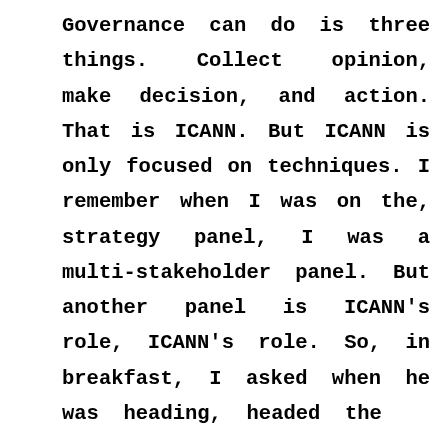Governance can do is three things. Collect opinion, make decision, and action. That is ICANN. But ICANN is only focused on techniques. I remember when I was on the, strategy panel, I was a multi-stakeholder panel. But another panel is ICANN's role, ICANN's role. So, in breakfast, I asked when he was heading, headed the